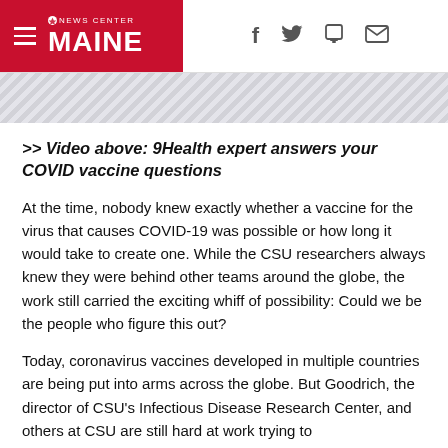NEWS CENTER MAINE
>> Video above: 9Health expert answers your COVID vaccine questions
At the time, nobody knew exactly whether a vaccine for the virus that causes COVID-19 was possible or how long it would take to create one. While the CSU researchers always knew they were behind other teams around the globe, the work still carried the exciting whiff of possibility: Could we be the people who figure this out?
Today, coronavirus vaccines developed in multiple countries are being put into arms across the globe. But Goodrich, the director of CSU’s Infectious Disease Research Center, and others at CSU are still hard at work trying to